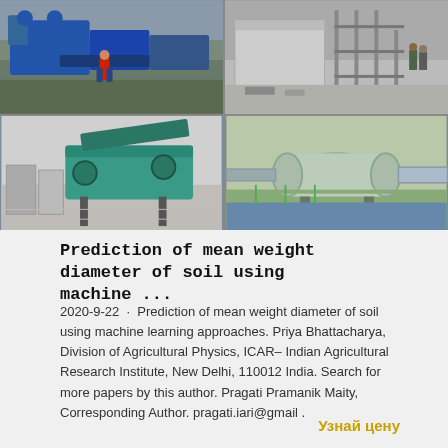[Figure (photo): Four-panel photo grid showing industrial sand washing/soil processing machinery: top-left shows blue machinery with worker in red, top-right shows construction site with workers and building structure, bottom-left shows teal/green sand washing conveyor equipment, bottom-right shows large cylindrical pipe/drum industrial equipment with piping in a water channel.]
Prediction of mean weight diameter of soil using machine ...
2020-9-22  ·  Prediction of mean weight diameter of soil using machine learning approaches. Priya Bhattacharya, Division of Agricultural Physics, ICAR– Indian Agricultural Research Institute, New Delhi, 110012 India. Search for more papers by this author. Pragati Pramanik Maity, Corresponding Author. pragati.iari@gmail .
Узнай цену